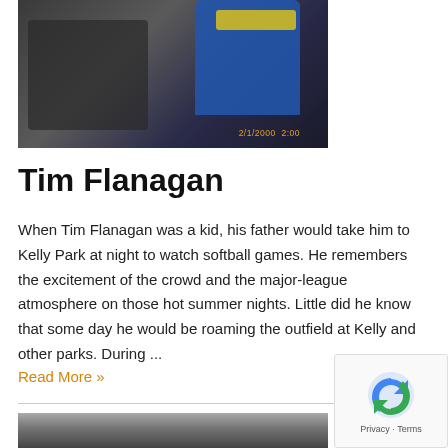[Figure (photo): Photo of Tim Flanagan with a child wearing a blue cap, timestamp 2/1/2000 2:00 visible in orange]
Tim Flanagan
When Tim Flanagan was a kid, his father would take him to Kelly Park at night to watch softball games. He remembers the excitement of the crowd and the major-league atmosphere on those hot summer nights. Little did he know that some day he would be roaming the outfield at Kelly and other parks. During ...
Read More »
[Figure (photo): Partial photo visible at bottom of page, appears to be a black and white or sepia outdoor scene]